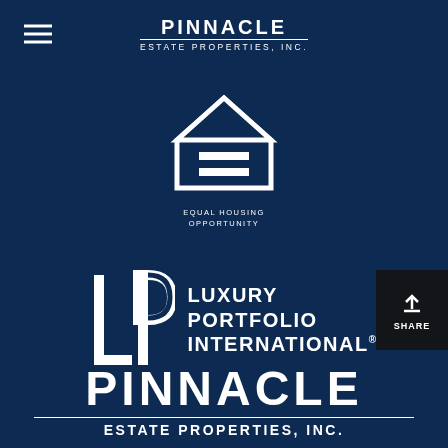[Figure (logo): Pinnacle Estate Properties, Inc. header logo with hamburger menu icon on dark navy background]
[Figure (logo): Equal Housing Opportunity logo - house outline with equal sign, text EQUAL HOUSING OPPORTUNITY below]
[Figure (logo): Luxury Portfolio International logo with LP monogram letters and text LUXURY PORTFOLIO INTERNATIONAL]
[Figure (illustration): Share button with honeycomb pattern background, upload arrow icon, and SHARE text]
[Figure (logo): Pinnacle Estate Properties, Inc. large bottom logo in white on navy background]